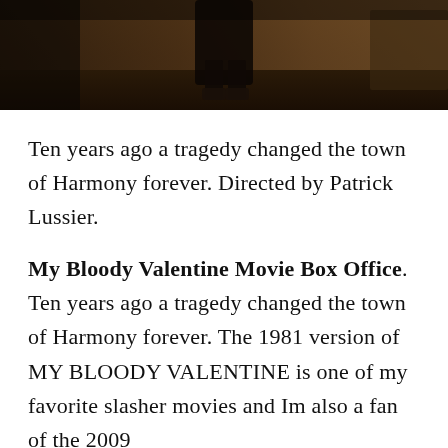[Figure (photo): Dark cinematic still from a horror film showing a figure in dark clothing in a dimly lit environment, browns and blacks dominant]
Ten years ago a tragedy changed the town of Harmony forever. Directed by Patrick Lussier.
My Bloody Valentine Movie Box Office. Ten years ago a tragedy changed the town of Harmony forever. The 1981 version of MY BLOODY VALENTINE is one of my favorite slasher movies and Im also a fan of the 2009